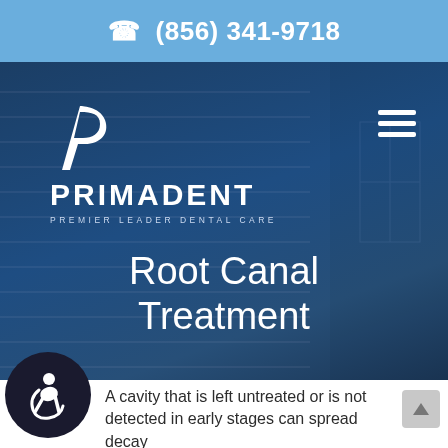(856) 341-9718
[Figure (logo): Primadent Premier Leader Dental Care logo with stylized P letter mark in white on dark blue hero background]
Root Canal Treatment
A cavity that is left untreated or is not detected in early stages can spread decay